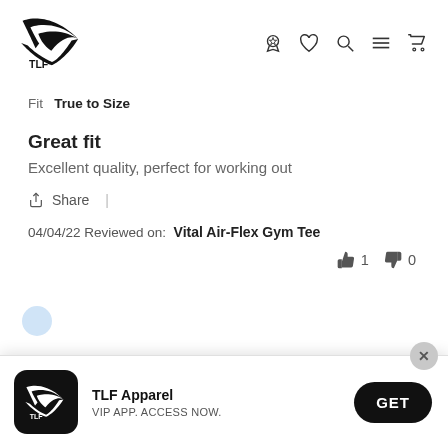TLF logo and navigation icons
Fit  True to Size
Great fit
Excellent quality, perfect for working out
Share |
04/04/22 Reviewed on: Vital Air-Flex Gym Tee
👍 1  👎 0
[Figure (screenshot): TLF Apparel app download banner with logo, text 'TLF Apparel VIP APP. ACCESS NOW.' and GET button]